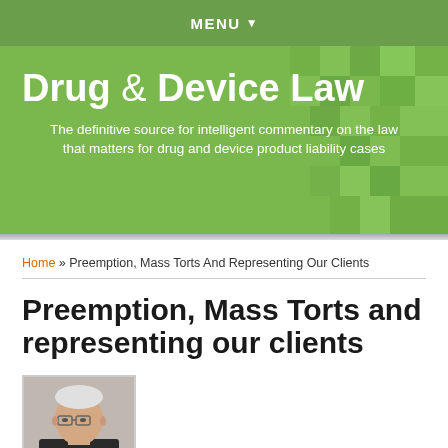MENU ▾
Drug & Device Law
The definitive source for intelligent commentary on the law that matters for drug and device product liability cases
Home » Preemption, Mass Torts And Representing Our Clients
Preemption, Mass Torts and representing our clients
[Figure (photo): Headshot of an older man with white hair and glasses]